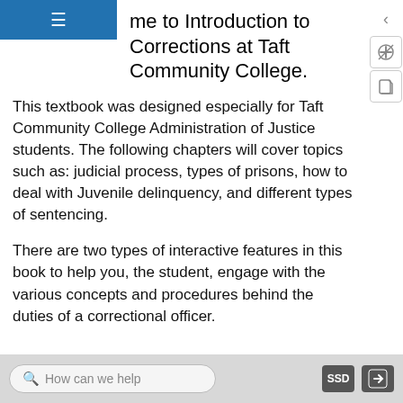me to Introduction to Corrections at Taft Community College.
This textbook was designed especially for Taft Community College Administration of Justice students. The following chapters will cover topics such as: judicial process, types of prisons, how to deal with Juvenile delinquency, and different types of sentencing.
There are two types of interactive features in this book to help you, the student, engage with the various concepts and procedures behind the duties of a correctional officer.
How can we help